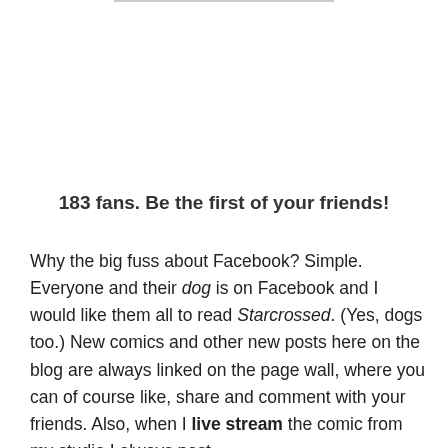183 fans. Be the first of your friends!
Why the big fuss about Facebook? Simple. Everyone and their dog is on Facebook and I would like them all to read Starcrossed. (Yes, dogs too.) New comics and other new posts here on the blog are always linked on the page wall, where you can of course like, share and comment with your friends. Also, when I live stream the comic from my studio I always post